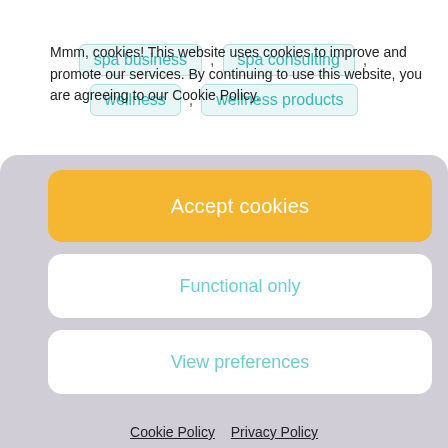spa business , spa consulting ,
wellness , wellness products
Mmm, cookies! This website uses cookies to improve and promote our services. By continuing to use this website, you are agreeing to our Cookie Policy.
Accept cookies
Functional only
View preferences
Cookie Policy   Privacy Policy